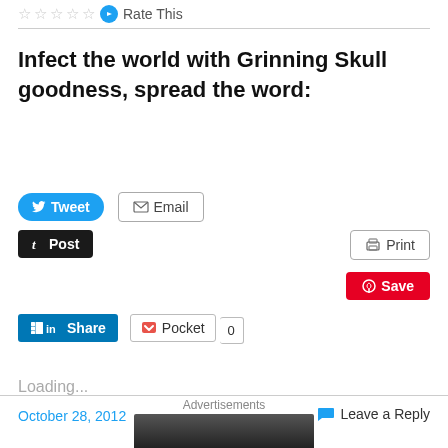Rate This
Infect the world with Grinning Skull goodness, spread the word:
[Figure (infographic): Social sharing buttons: Tweet (Twitter), Email, Post (Tumblr), Print, Save (Pinterest), Share (LinkedIn), Pocket with count 0]
Loading...
October 28, 2012
Leave a Reply
Advertisements